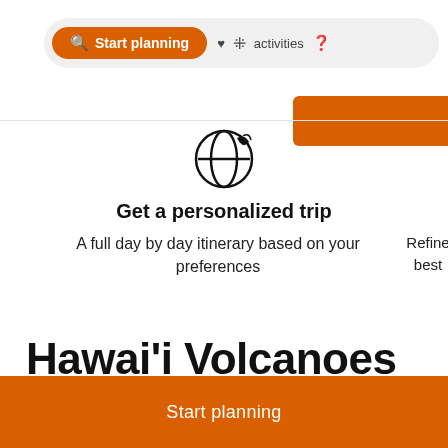Start planning  activities
[Figure (illustration): Globe/earth emoji icon with a leaf, representing eco/travel planning]
Get a personalized trip
A full day by day itinerary based on your preferences
Refine best
Hawai'i Volcanoes National Park Kahuku Unit reviews
Start planning